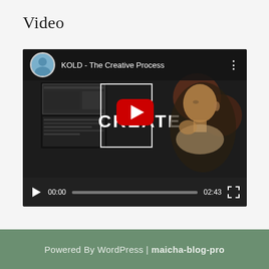Video
[Figure (screenshot): YouTube video player showing 'KOLD - The Creative Process' with a thumbnail of a man looking at video editing software. The video shows a play button overlay with the text 'CREATE' partially visible. Controls show 00:00 current time, a progress bar, 02:43 total duration, and a fullscreen button.]
Powered By WordPress | maicha-blog-pro